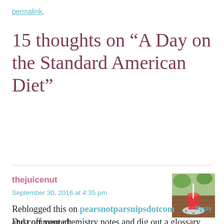permalink.
15 thoughts on “A Day on the Standard American Diet”
thejuicenut
September 30, 2016 at 4:35 pm
[Figure (photo): Avatar image showing a red smoothie or juice drink in a glass on a coaster outdoors]
Reblogged this on pearsnotparsnipsdotcom and commented:
Dust off your chemistry notes and dig out a glossary, this is the